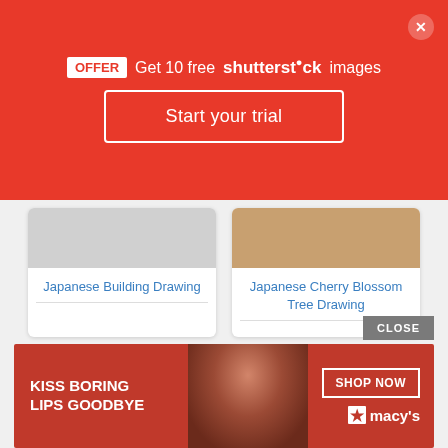[Figure (screenshot): Red Shutterstock promotional banner with OFFER badge, 'Get 10 free shutterstock images' text, 'Start your trial' button, and close X button]
Japanese Building Drawing
Japanese Cherry Blossom Tree Drawing
[Figure (screenshot): Bottom advertisement: 'KISS BORING LIPS GOODBYE' with SHOP NOW button and Macy's star logo on red background with woman's face]
CLOSE